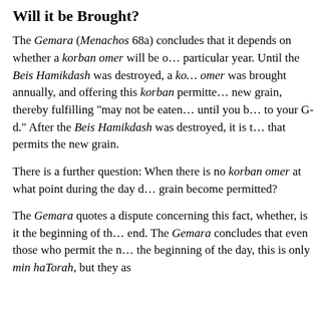Will it be Brought?
The Gemara (Menachos 68a) concludes that it depends on whether a korban omer will be offered in that particular year. Until the Beis Hamikdash was destroyed, a korban omer was brought annually, and offering this korban permitted the new grain, thereby fulfilling “may not be eaten… until you bring it to your G-d.” After the Beis Hamikdash was destroyed, it is the day that permits the new grain.
There is a further question: When there is no korban omer at what point during the day does the grain become permitted?
The Gemara quotes a dispute concerning this fact, whether, is it the beginning of the day or the end. The Gemara concludes that even those who permit the new grain at the beginning of the day, this is only min haTorah, but they as